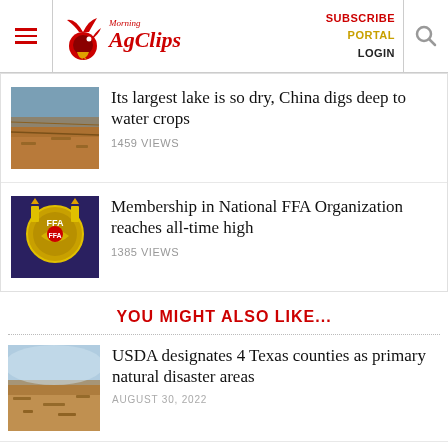Morning AgClips — SUBSCRIBE PORTAL LOGIN
Its largest lake is so dry, China digs deep to water crops
1459 VIEWS
Membership in National FFA Organization reaches all-time high
1385 VIEWS
YOU MIGHT ALSO LIKE...
USDA designates 4 Texas counties as primary natural disaster areas
AUGUST 30, 2022
CDFA accepting applications for